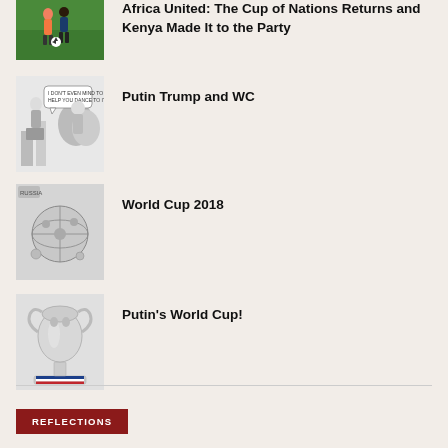[Figure (photo): Soccer players on a green field]
Africa United: The Cup of Nations Returns and Kenya Made It to the Party
[Figure (illustration): Political cartoon - figures near a podium with speech bubble]
Putin Trump and WC
[Figure (illustration): Political cartoon - world globe with soccer ball imagery]
World Cup 2018
[Figure (illustration): World Cup trophy with Russian flag colors at base]
Putin's World Cup!
REFLECTIONS